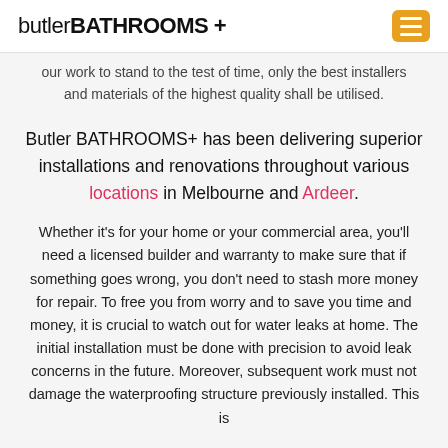butlerBATHROOMS+
our work to stand to the test of time, only the best installers and materials of the highest quality shall be utilised.
Butler BATHROOMS+ has been delivering superior installations and renovations throughout various locations in Melbourne and Ardeer.
Whether it's for your home or your commercial area, you'll need a licensed builder and warranty to make sure that if something goes wrong, you don't need to stash more money for repair. To free you from worry and to save you time and money, it is crucial to watch out for water leaks at home. The initial installation must be done with precision to avoid leak concerns in the future. Moreover, subsequent work must not damage the waterproofing structure previously installed. This is